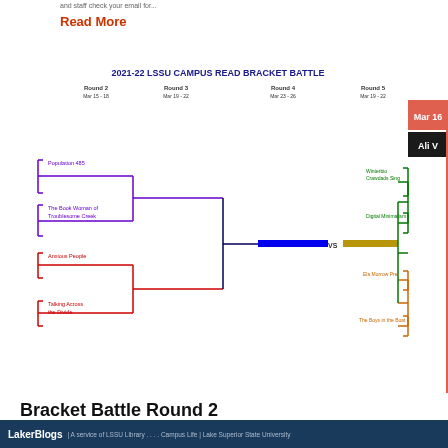and staff check your email for...
Read More
[Figure (infographic): 2021-22 LSSU Campus Read Bracket Battle tournament bracket showing books competing across rounds. Round 2 Mar 15-18, Round 3 Mar 19-22, Round 4 Mar 23-26, Round 5 Mar 19-22. Books: Population 485, The Book Woman of Troublesome Creek, Anxious People, Talking Across the Divide. Right side: Winterbio Crawdads Sing, Digital Minimalism, Ela Morrow Pre, The Boys in the Boat. Winner box shows Mar 16 and Ali V. Blue vs gold bar in center marked VS.]
Bracket Battle Round 2
LakerBlogs | A service of LSSU Library . . . . Campus Life | Lake Superior State University